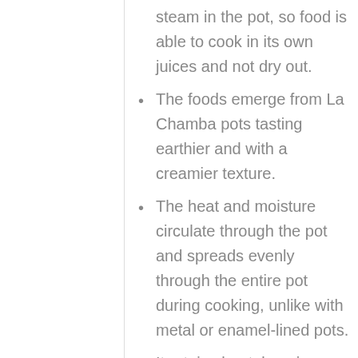steam in the pot, so food is able to cook in its own juices and not dry out.
The foods emerge from La Chamba pots tasting earthier and with a creamier texture.
The heat and moisture circulate through the pot and spreads evenly through the entire pot during cooking, unlike with metal or enamel-lined pots.
It retains heat, keeping food